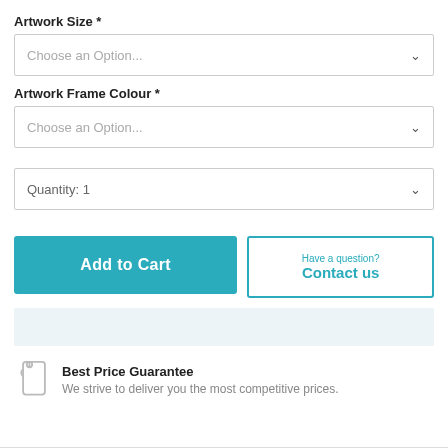Artwork Size *
Choose an Option...
Artwork Frame Colour *
Choose an Option...
Quantity: 1
Add to Cart
Have a question? Contact us
[Figure (other): Light blue info/banner bar]
Best Price Guarantee
We strive to deliver you the most competitive prices.